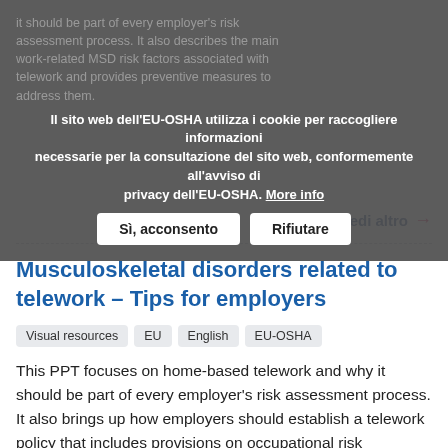it should be part of every employer's risk assessment process. It also describes the main work-related MSD risk factors associated with telework and provides preventive measures to address them.
Il sito web dell'EU-OSHA utilizza i cookie per raccogliere informazioni necessarie per la consultazione del sito web, conformemente all'avviso di privacy dell'EU-OSHA. More info
Sì, acconsento | Rifiutare
Vedi altro →
Musculoskeletal disorders related to telework – Tips for employers
Visual resources | EU | English | EU-OSHA
This PPT focuses on home-based telework and why it should be part of every employer's risk assessment process. It also brings up how employers should establish a telework policy that includes provisions on occupational risk assessment, ergonomic equipment, working hours